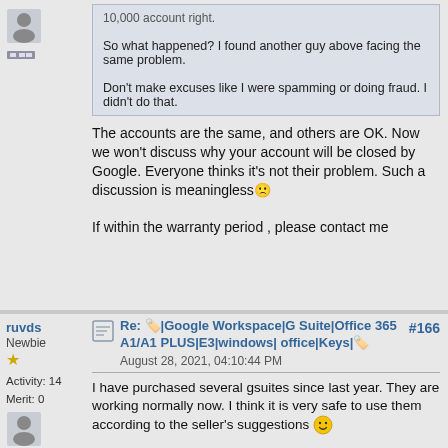10,000 account right.

So what happened? I found another guy above facing the same problem.

Don't make excuses like I were spamming or doing fraud. I didn't do that.
The accounts are the same, and  others are OK. Now we won't discuss why your account will be closed by Google.   Everyone thinks it's not their problem.  Such a discussion is meaningless🙁
If within the warranty period , please contact me
ruvds
Newbie
Activity: 14
Merit: 0
Re: 🏷️|Google Workspace|G Suite|Office 365 A1/A1 PLUS|E3|windows| office|Keys|🏷️
August 28, 2021, 04:10:44 PM
#166
I have purchased several gsuites since last year. They are working normally now. I think it is very safe to use them according to the seller's suggestions 😁